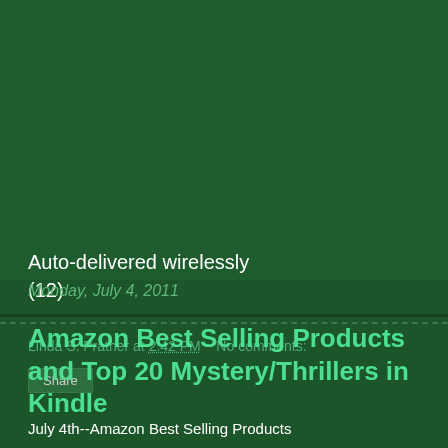Auto-delivered wirelessly (12)
Linda S. Prather at 2:42 PM   No comments:
Share
Monday, July 4, 2011
Amazon Best Selling Products and Top 20 Mystery/Thrillers in Kindle
July 4th--Amazon Best Selling Products